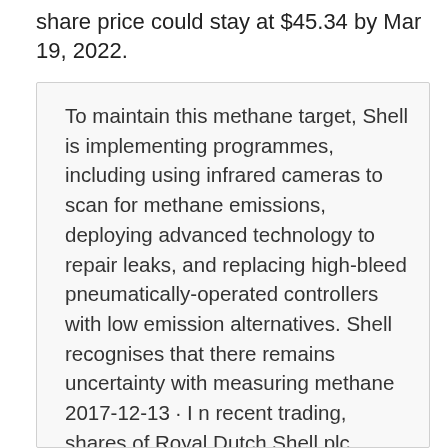share price could stay at $45.34 by Mar 19, 2022.
To maintain this methane target, Shell is implementing programmes, including using infrared cameras to scan for methane emissions, deploying advanced technology to repair leaks, and replacing high-bleed pneumatically-operated controllers with low emission alternatives. Shell recognises that there remains uncertainty with measuring methane 2017-12-13 · I n recent trading, shares of Royal Dutch Shell plc (Symbol: RDS.A) have crossed above the average analyst 12-month target price of $64.22, changing hands for $64.50/share. When a stock reaches For the most up-to-date